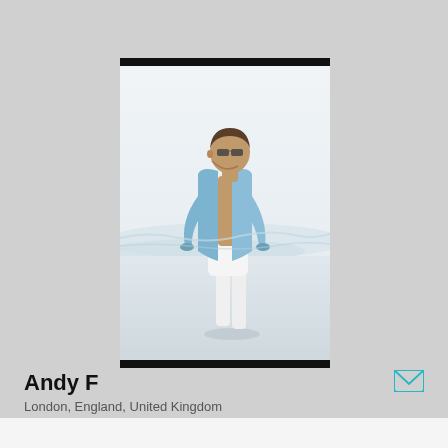[Figure (photo): A man wearing sunglasses, an open blue linen shirt, and white shorts walking on a beach. The beach background is bright white with ocean waves visible.]
Andy F
London, England, United Kingdom